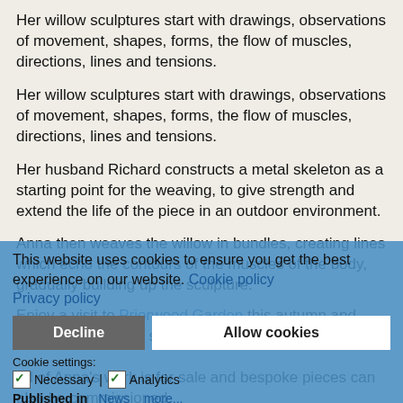Her willow sculptures start with drawings, observations of movement, shapes, forms, the flow of muscles, directions, lines and tensions.
Her willow sculptures start with drawings, observations of movement, shapes, forms, the flow of muscles, directions, lines and tensions.
Her husband Richard constructs a metal skeleton as a starting point for the weaving, to give strength and extend the life of the piece in an outdoor environment.
Anna then weaves the willow in bundles, creating lines which echo the contours of the muscles of the body, gradually building up the sculpture.
Enjoy a visit to Priorwood Garden this autumn and see these stunning sculptures for yourself.
All of Anna's work is for sale and bespoke pieces can also be commissioned.
This website uses cookies to ensure you get the best experience on our website. Cookie policy Privacy policy
Cookie settings: Necessary | Analytics
Published in News more...